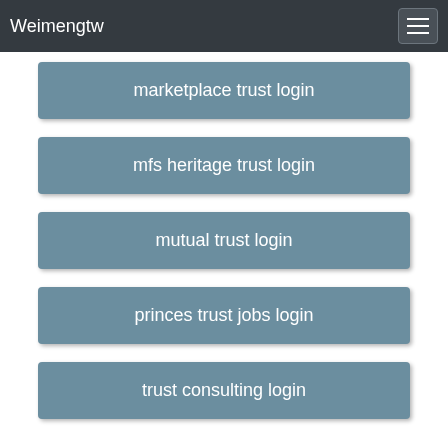Weimengtw
marketplace trust login
mfs heritage trust login
mutual trust login
princes trust jobs login
trust consulting login